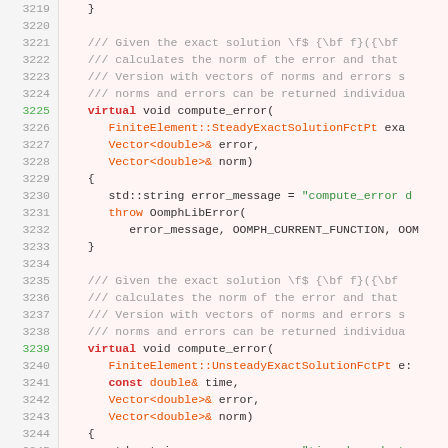[Figure (screenshot): Source code listing showing C++ class method definitions for compute_error functions, with syntax highlighting. Line numbers 3219-3245 are visible. Code includes virtual void compute_error methods with FiniteElement::SteadyExactSolutionFctPt and FiniteElement::UnsteadyExactSolutionFctPt parameters, error messages, and throw statements.]